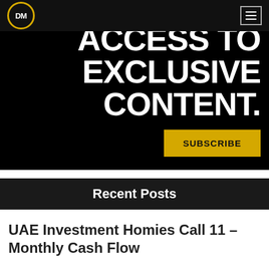DM
[Figure (screenshot): Dark hero banner with bold white uppercase text reading 'ACCESS TO EXCLUSIVE CONTENT.' and a yellow SUBSCRIBE button]
Recent Posts
UAE Investment Homies Call 11 – Monthly Cash Flow